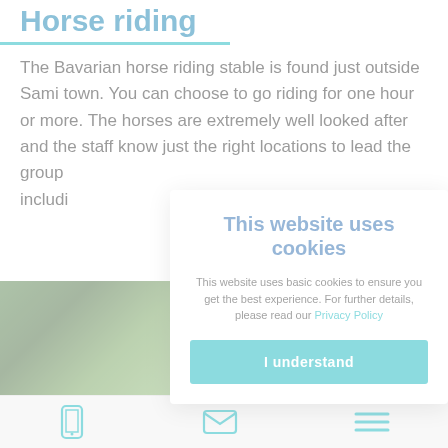Horse riding
The Bavarian horse riding stable is found just outside Sami town. You can choose to go riding for one hour or more. The horses are extremely well looked after and the staff know just the right locations to lead the group… includi…
[Figure (photo): Green outdoor landscape photo strip with navigation arrow button]
This website uses cookies
This website uses basic cookies to ensure you get the best experience. For further details, please read our Privacy Policy
I understand
Phone icon | Mail icon | Menu icon